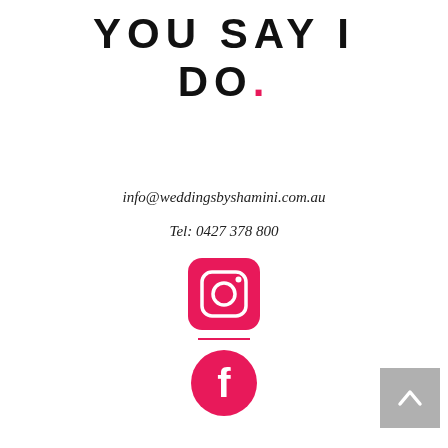YOU SAY I DO.
info@weddingsbyshamini.com.au
Tel: 0427 378 800
[Figure (logo): Instagram icon — pink/red rounded square with Instagram camera outline in white]
[Figure (logo): Facebook icon — pink circle with white F letter]
[Figure (other): Back to top button — grey square with white upward chevron arrow]